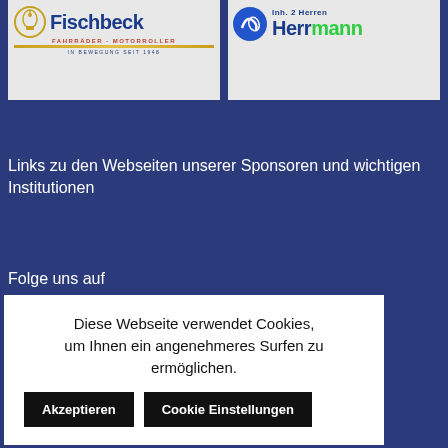[Figure (logo): Fischbeck Fahrräder - Motorroller logo with bicycle/phone icon, blue text, red subtitle, gold bar, tagline 'IN BEWEGUNG SEIT 1948']
[Figure (logo): Herrmann cycling brand logo with shoe/skate icon and blue/green bold text]
Links zu den Webseiten unserer Sponsoren und wichtigen Institutionen
Folge uns auf
Diese Webseite verwendet Cookies, um Ihnen ein angenehmeres Surfen zu ermöglichen.
Akzeptieren
Cookie Einstellungen